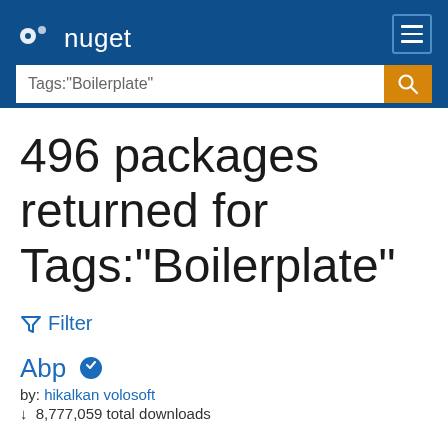nuget
Tags:"Boilerplate"
496 packages returned for Tags:"Boilerplate"
Filter
Abp
by: hikalkan volosoft
8,777,059 total downloads